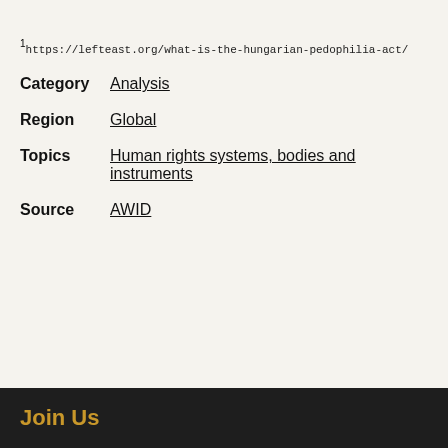1https://lefteast.org/what-is-the-hungarian-pedophilia-act/
Category   Analysis
Region   Global
Topics   Human rights systems, bodies and instruments
Source   AWID
Join Us